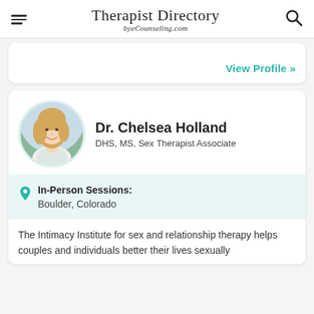Therapist Directory by eCounseling.com
View Profile »
Dr. Chelsea Holland
DHS, MS, Sex Therapist Associate
In-Person Sessions: Boulder, Colorado
The Intimacy Institute for sex and relationship therapy helps couples and individuals better their lives sexually